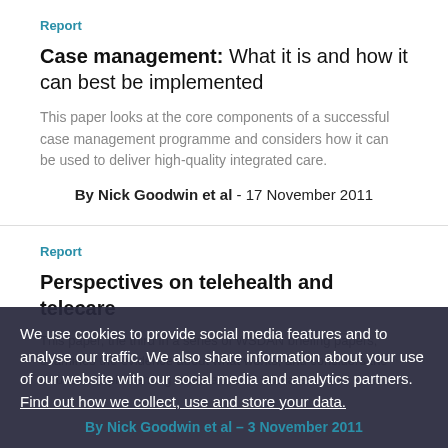Report
Case management: What it is and how it can best be implemented
This paper looks at the core components of a successful case management programme and considers how it can be used to deliver high-quality integrated care.
By Nick Goodwin et al - 17 November 2011
Report
Perspectives on telehealth and telecare
This paper, the third in a series of WSDAN briefing papers, examines the evidence about what works, and considers the issues in implementing telehealth and telecare.
We use cookies to provide social media features and to analyse our traffic. We also share information about your use of our website with our social media and analytics partners. Find out how we collect, use and store your data.
By Nick Goodwin et al – 3 November 2011